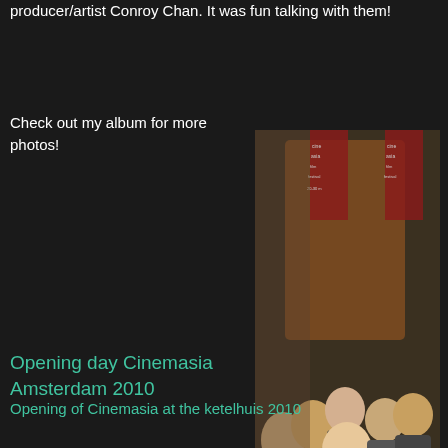producer/artist Conroy Chan. It was fun talking with them!
Check out my album for more photos!
[Figure (photo): Group photo of people at Cinemasia film festival Amsterdam 2010, with Cinemasia banners visible in the background]
Opening day Cinemasia Amsterdam 2010
Opening of Cinemasia at the ketelhuis 2010